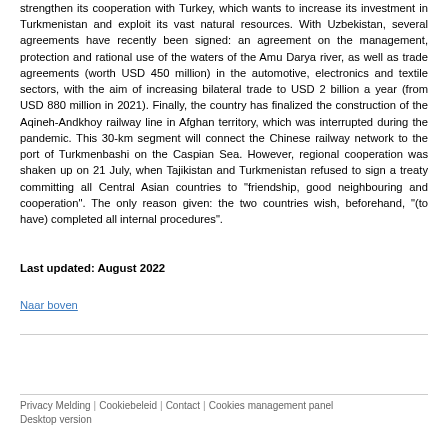strengthen its cooperation with Turkey, which wants to increase its investment in Turkmenistan and exploit its vast natural resources. With Uzbekistan, several agreements have recently been signed: an agreement on the management, protection and rational use of the waters of the Amu Darya river, as well as trade agreements (worth USD 450 million) in the automotive, electronics and textile sectors, with the aim of increasing bilateral trade to USD 2 billion a year (from USD 880 million in 2021). Finally, the country has finalized the construction of the Aqineh-Andkhoy railway line in Afghan territory, which was interrupted during the pandemic. This 30-km segment will connect the Chinese railway network to the port of Turkmenbashi on the Caspian Sea. However, regional cooperation was shaken up on 21 July, when Tajikistan and Turkmenistan refused to sign a treaty committing all Central Asian countries to "friendship, good neighbouring and cooperation". The only reason given: the two countries wish, beforehand, "(to have) completed all internal procedures".
Last updated: August 2022
Naar boven
Privacy Melding | Cookiebeleid | Contact | Cookies management panel
Desktop version